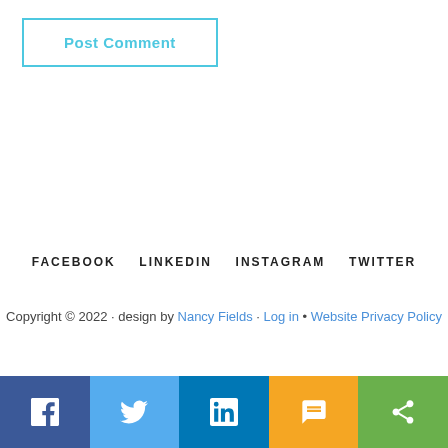Post Comment
FACEBOOK   LINKEDIN   INSTAGRAM   TWITTER
Copyright © 2022 · design by Nancy Fields · Log in • Website Privacy Policy
[Figure (other): Social share bar with Facebook, Twitter, LinkedIn, SMS, and share icons]